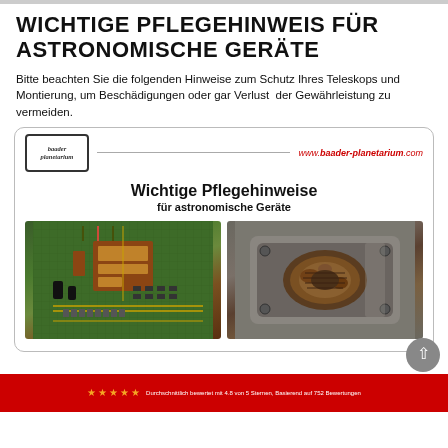WICHTIGE PFLEGEHINWEIS FÜR ASTRONOMISCHE GERÄTE
Bitte beachten Sie die folgenden Hinweise zum Schutz Ihres Teleskops und Montierung, um Beschädigungen oder gar Verlust der Gewährleistung zu vermeiden.
[Figure (photo): Baader Planetarium care instructions card showing two photos: a damaged electronic PCB circuit board on the left, and a corroded metal telescope mount component on the right. Card header includes Baader Planetarium logo and website www.baader-planetarium.com. Card title reads 'Wichtige Pflegehinweise für astronomische Geräte'.]
[Figure (infographic): Red banner at bottom with star rating and review text in German. Shows 5 yellow stars and text 'Durchschnittlich bewertet mit 4.8 von 5 Sternen, Basierend auf 752 Bewertungen']